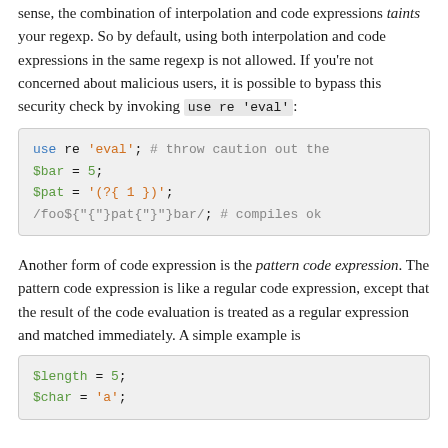sense, the combination of interpolation and code expressions taints your regexp. So by default, using both interpolation and code expressions in the same regexp is not allowed. If you're not concerned about malicious users, it is possible to bypass this security check by invoking use re 'eval':
[Figure (screenshot): Code block showing: use re 'eval';  # throw caution out the / $bar = 5; / $pat = '(?{ 1 })'; / /foo${pat}bar/;  # compiles ok]
Another form of code expression is the pattern code expression. The pattern code expression is like a regular code expression, except that the result of the code evaluation is treated as a regular expression and matched immediately. A simple example is
[Figure (screenshot): Code block showing: $length = 5; / $char = 'a';]